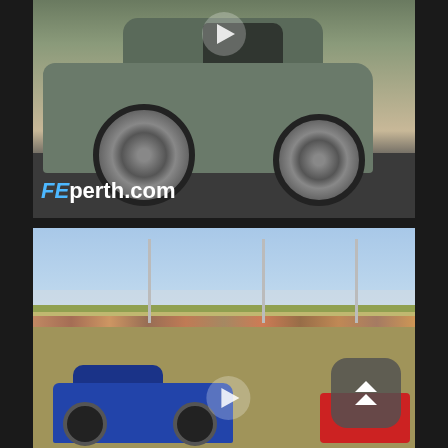[Figure (photo): Gray/green classic Australian sedan (Holden VH Commodore style) doing a burnout on a black asphalt track. Watermark text 'FEperth.com' visible at bottom left. Play button overlay at top center.]
[Figure (photo): Motorsport event scene showing a blue car doing a burnout on a circuit track with smoke visible. Spectators/crowd visible in the background behind barriers. A red car or object partially visible at right. Play button overlay and double-chevron scroll button visible.]